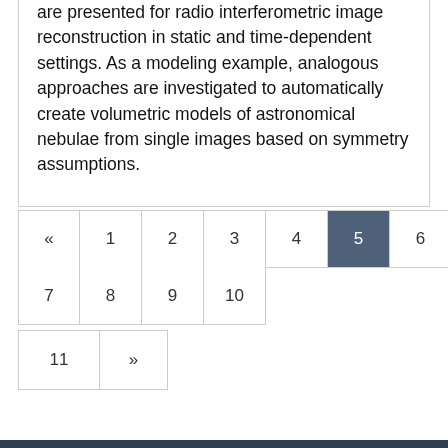are presented for radio interferometric image reconstruction in static and time-dependent settings. As a modeling example, analogous approaches are investigated to automatically create volumetric models of astronomical nebulae from single images based on symmetry assumptions.
« 1 2 3 4 5 6 7 8 9 10 11 »